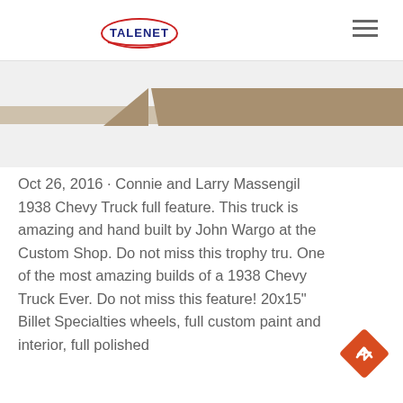TALENET
[Figure (photo): Cropped image strip showing a 1938 Chevy Truck with tan/brown bodywork, visible as a narrow horizontal band]
Oct 26, 2016 · Connie and Larry Massengil 1938 Chevy Truck full feature. This truck is amazing and hand built by John Wargo at the Custom Shop. Do not miss this trophy tru. One of the most amazing builds of a 1938 Chevy Truck Ever. Do not miss this feature! 20x15" Billet Specialties wheels, full custom paint and interior, full polished and hand-honed high-lander...